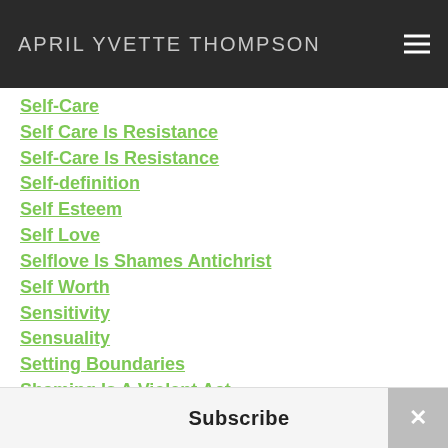APRIL YVETTE THOMPSON
Self-Care
Self Care Is Resistance
Self-Care Is Resistance
Self-definition
Self Esteem
Self Love
Selflove Is Shames Antichrist
Self Worth
Sensitivity
Sensuality
Setting Boundaries
Shaming Is A Violent Act
Shunning
Single Mom
Subscribe